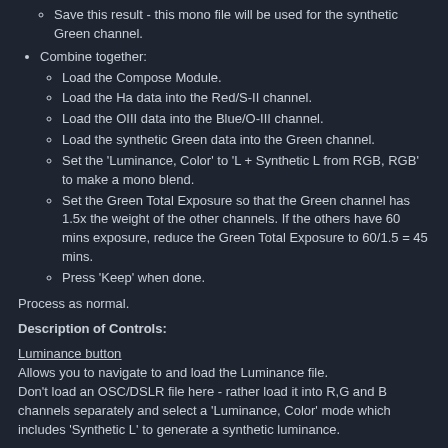Save this result - this mono file will be used for the synthetic Green channel.
Combine together:
Load the Compose Module.
Load the Ha data into the Red/S-II channel.
Load the OIII data into the Blue/O-III channel.
Load the synthetic Green data into the Green channel.
Set the 'Luminance, Color' to 'L + Synthetic L from RGB, RGB' to make a mono blend.
Set the Green Total Exposure so that the Green channel has 1.5x the weight of the other channels. If the others have 60 mins exposure, reduce the Green Total Exposure to 60/1.5 = 45 mins.
Press 'Keep' when done.
Process as normal.
Description of Controls:
Luminance button
Allows you to navigate to and load the Luminance file.
Don't load an OSC/DSLR file here - rather load it into R,G and B channels separately and select a 'Luminance, Color' mode which includes 'Synthetic L' to generate a synthetic luminance.